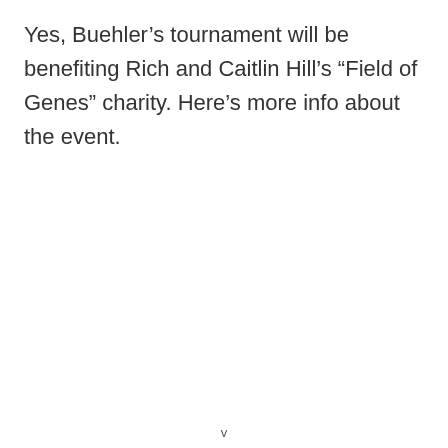Yes, Buehler’s tournament will be benefiting Rich and Caitlin Hill’s “Field of Genes” charity. Here’s more info about the event.
v